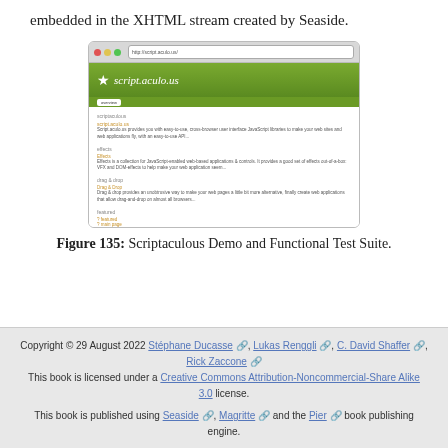embedded in the XHTML stream created by Seaside.
[Figure (screenshot): Browser window screenshot showing the script.aculo.us website with green header, star logo, and content sections listing Scriptaculous demos and functional test suite.]
Figure 135: Scriptaculous Demo and Functional Test Suite.
Copyright © 29 August 2022 Stéphane Ducasse, Lukas Renggli, C. David Shaffer, Rick Zaccone
This book is licensed under a Creative Commons Attribution-Noncommercial-Share Alike 3.0 license.
This book is published using Seaside, Magritte and the Pier book publishing engine.